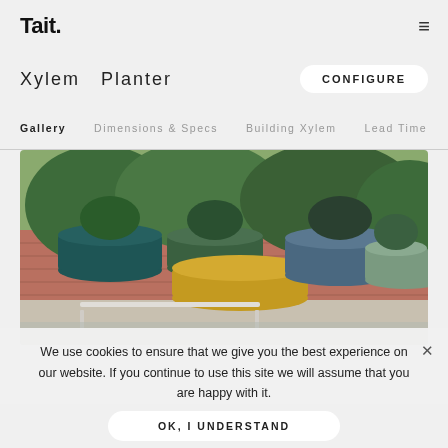Tait.
Xylem  Planter
Gallery   Dimensions & Specs   Building Xylem   Lead Time
[Figure (photo): Outdoor photo showing multiple Xylem Planters (teal, green, mustard yellow, dusty blue) arranged in front of a brick wall with lush green plants/hedges in the background.]
We use cookies to ensure that we give you the best experience on our website. If you continue to use this site we will assume that you are happy with it.
OK, I UNDERSTAND